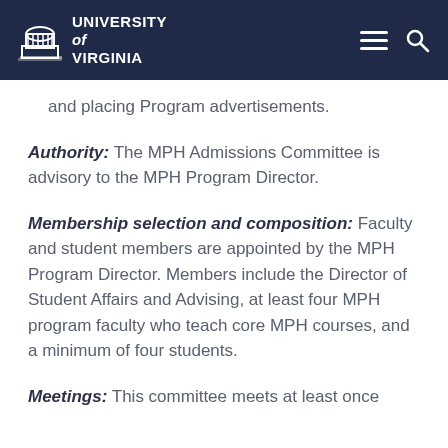University of Virginia
and placing Program advertisements.
Authority: The MPH Admissions Committee is advisory to the MPH Program Director.
Membership selection and composition: Faculty and student members are appointed by the MPH Program Director. Members include the Director of Student Affairs and Advising, at least four MPH program faculty who teach core MPH courses, and a minimum of four students.
Meetings: This committee meets at least once